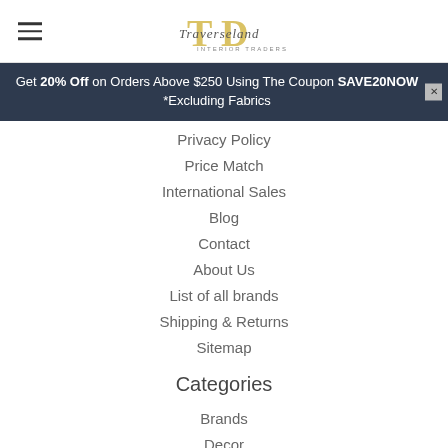Traverseland (logo with hamburger menu)
Get 20% Off on Orders Above $250 Using The Coupon SAVE20NOW *Excluding Fabrics
Privacy Policy
Price Match
International Sales
Blog
Contact
About Us
List of all brands
Shipping & Returns
Sitemap
Categories
Brands
Decor
Lighting
Furniture